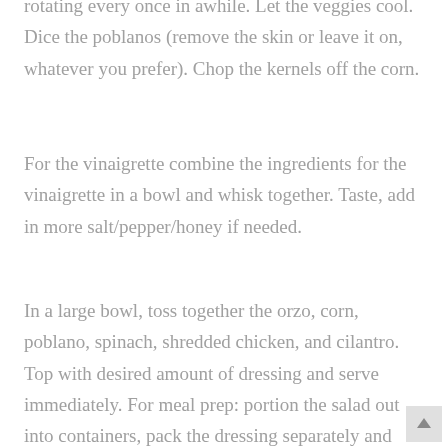rotating every once in awhile. Let the veggies cool. Dice the poblanos (remove the skin or leave it on, whatever you prefer). Chop the kernels off the corn.
For the vinaigrette combine the ingredients for the vinaigrette in a bowl and whisk together. Taste, add in more salt/pepper/honey if needed.
In a large bowl, toss together the orzo, corn, poblano, spinach, shredded chicken, and cilantro. Top with desired amount of dressing and serve immediately. For meal prep: portion the salad out into containers, pack the dressing separately and toss right before eating.